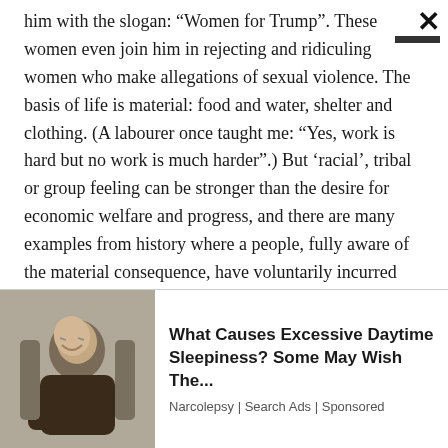him with the slogan: “Women for Trump”. These women even join him in rejecting and ridiculing women who make allegations of sexual violence. The basis of life is material: food and water, shelter and clothing. (A labourer once taught me: “Yes, work is hard but no work is much harder”.) But ‘racial’, tribal or group feeling can be stronger than the desire for economic welfare and progress, and there are many examples from history where a people, fully aware of the material consequence, have voluntarily incurred economic damage driven by group impulses.
[Figure (photo): Advertisement showing an elderly man sleeping in a chair, with text about excessive daytime sleepiness]